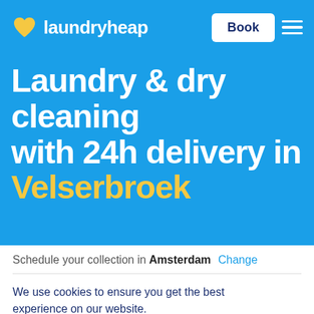laundryheap
Laundry & dry cleaning with 24h delivery in Velserbroek
Schedule your collection in Amsterdam  Change
We use cookies to ensure you get the best experience on our website.
Learn more
I understand